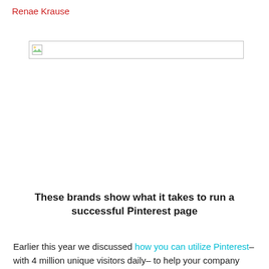Renae Krause
[Figure (other): Broken/placeholder image thumbnail — a small image icon with a white and light-gray landscape icon, inside a bordered rectangle placeholder]
These brands show what it takes to run a successful Pinterest page
Earlier this year we discussed how you can utilize Pinterest– with 4 million unique visitors daily– to help your company gain